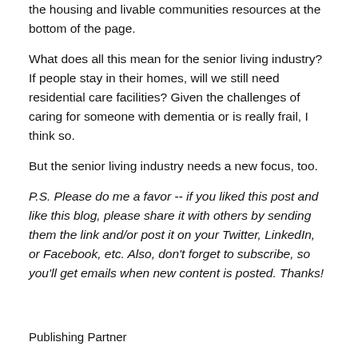the housing and livable communities resources at the bottom of the page.
What does all this mean for the senior living industry? If people stay in their homes, will we still need residential care facilities? Given the challenges of caring for someone with dementia or is really frail, I think so.
But the senior living industry needs a new focus, too.
P.S.  Please do me a favor -- if you liked this post and like this blog, please share it with others by sending them the link and/or post it on your Twitter, LinkedIn, or Facebook, etc.  Also, don't forget to subscribe, so you'll get emails when new content is posted.  Thanks!
Publishing Partner